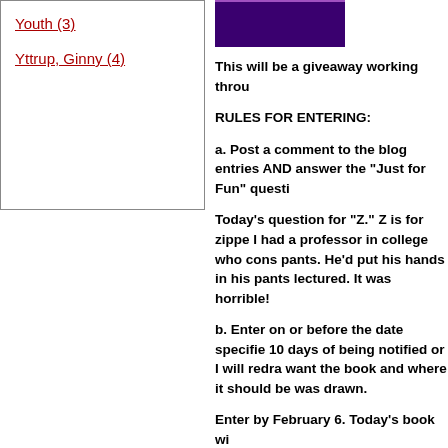Youth (3)
Yttrup, Ginny (4)
[Figure (photo): Book cover thumbnail with dark purple/black background]
This will be a giveaway working throu
RULES FOR ENTERING:
a. Post a comment to the blog entries AND answer the "Just for Fun" questi
Today's question for "Z." Z is for zippe I had a professor in college who cons pants. He'd put his hands in his pants lectured. It was horrible!
b. Enter on or before the date specifie 10 days of being notified or I will redra want the book and where it should be was drawn.
Enter by February 6. Today's book wi
c. Check back for the next giveaway!
No author located with a last name tha that I love that has a Z in the series tit Rene Gutteridge.
Book 1 Description: